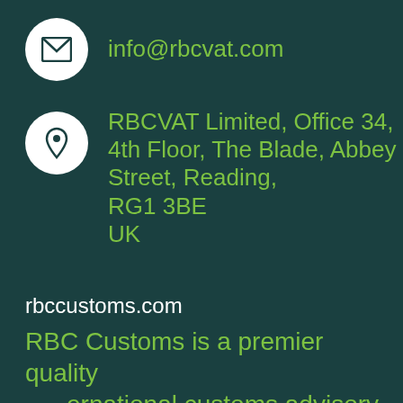info@rbcvat.com
RBCVAT Limited, Office 34, 4th Floor, The Blade, Abbey Street, Reading, RG1 3BE UK
rbccustoms.com
RBC Customs is a premier quality international customs advisory, brokerage and compliance